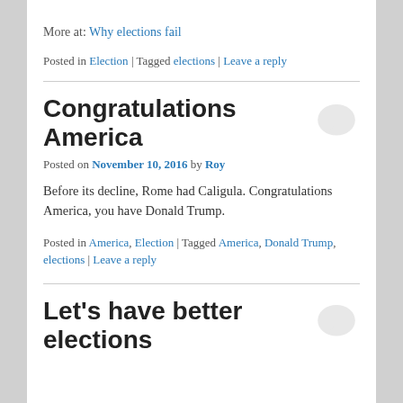More at: Why elections fail
Posted in Election | Tagged elections | Leave a reply
Congratulations America
Posted on November 10, 2016 by Roy
Before its decline, Rome had Caligula. Congratulations America, you have Donald Trump.
Posted in America, Election | Tagged America, Donald Trump, elections | Leave a reply
Let's have better elections